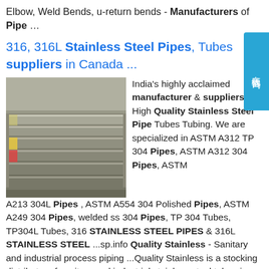Elbow, Weld Bends, u-return bends - Manufacturers of Pipe …
316, 316L Stainless Steel Pipes, Tubes suppliers in Canada ...
[Figure (photo): Stack of flat stainless steel plates/sheets in a warehouse setting, showing metallic grey surfaces with some colored markings on ends.]
India's highly acclaimed manufacturer & suppliers of High Quality Stainless Steel Pipe Tubes Tubing. We are specialized in ASTM A312 TP 304 Pipes, ASTM A312 304 Pipes, ASTM A213 304L Pipes , ASTM A554 304 Polished Pipes, ASTM A249 304 Pipes, welded ss 304 Pipes, TP 304 Tubes, TP304L Tubes, 316 STAINLESS STEEL PIPES & 316L STAINLESS STEEL ...sp.info Quality Stainless - Sanitary and industrial process piping ...Quality Stainless is a stocking distributor of sanitary and industrial stainless steel tube,pipe and fittings in 304/304L and 316/316L. We